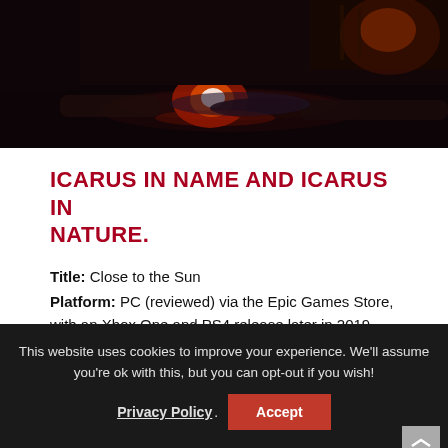[Figure (photo): Dark screenshot from Close to the Sun game showing a figure lying on a floor with glowing reddish light]
ICARUS IN NAME AND ICARUS IN NATURE.
Title: Close to the Sun
Platform: PC (reviewed) via the Epic Games Store, with an Xbox One and PS4 release later in 2019.
Developer: Storm in a Teacup
Publisher: Wired Productions
This website uses cookies to improve your experience. We'll assume you're ok with this, but you can opt-out if you wish!
Privacy Policy. Accept